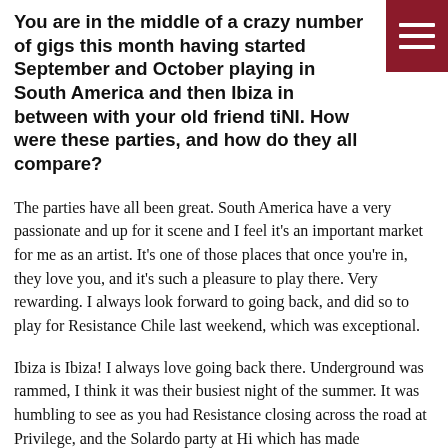You are in the middle of a crazy number of gigs this month having started September and October playing in South America and then Ibiza in between with your old friend tiNI. How were these parties, and how do they all compare?
The parties have all been great. South America have a very passionate and up for it scene and I feel it's an important market for me as an artist. It's one of those places that once you're in, they love you, and it's such a pleasure to play there. Very rewarding. I always look forward to going back, and did so to play for Resistance Chile last weekend, which was exceptional.
Ibiza is Ibiza! I always love going back there. Underground was rammed, I think it was their busiest night of the summer. It was humbling to see as you had Resistance closing across the road at Privilege, and the Solardo party at Hi which has made